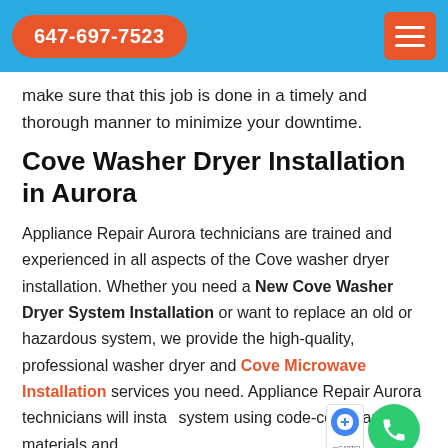647-697-7523
make sure that this job is done in a timely and thorough manner to minimize your downtime.
Cove Washer Dryer Installation in Aurora
Appliance Repair Aurora technicians are trained and experienced in all aspects of the Cove washer dryer installation. Whether you need a New Cove Washer Dryer System Installation or want to replace an old or hazardous system, we provide the high-quality, professional washer dryer and Cove Microwave Installation services you need. Appliance Repair Aurora technicians will install your system using code-compliant materials and